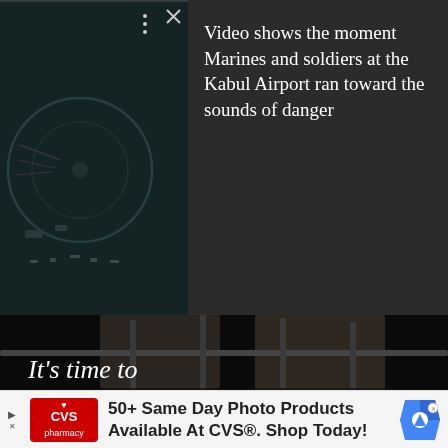[Figure (screenshot): Dark aerial/surveillance video thumbnail showing overhead view of what appears to be a military or industrial facility at night, with circular structures visible. Video player controls (dots menu, X close button) visible at top right of video frame, and a right-arrow navigation button at bottom right.]
Video shows the moment Marines and soldiers at the Kabul Airport ran toward the sounds of danger
[Figure (photo): Advertisement photo showing two soldiers in full combat gear and helmets viewed from behind, riding in a military vehicle. Concerned Veterans for America (CVA) logo visible in upper left. White text reads 'It's time to' and bold gold text reads 'BRING OUR TROOPS HOME' with partial text 'from Iraq' at bottom.]
[Figure (screenshot): CVS Pharmacy advertisement banner at bottom. Red CVS Pharmacy logo on left, text reads '50+ Same Day Photo Products Available At CVS®. Shop Today!' with Google Ads icon on right.]